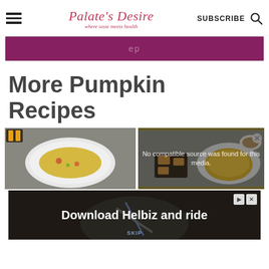Palate's Desire — where taste meets health
[Figure (screenshot): Purple/maroon promotional banner partially visible]
More Pumpkin Recipes
[Figure (photo): Two food photos side by side: left shows a white plate with yellow/orange pumpkin dish, right shows a bowl of pumpkin soup with bread pieces and a small bowl of spice. A video overlay reads 'No compatible source was found for this media.']
[Figure (screenshot): Ad banner: 'Download Helbiz and ride' with close and skip controls]